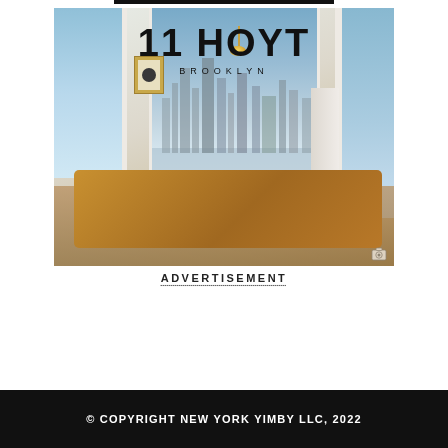[Figure (photo): Interior photo of a luxury high-rise apartment dining room at 11 Hoyt Brooklyn, featuring a large wooden dining table with dark upholstered chairs, floor-to-ceiling windows showing the Manhattan skyline and water views, white walls, with the text '11 HOYT BROOKLYN' overlaid.]
ADVERTISEMENT
© COPYRIGHT NEW YORK YIMBY LLC, 2022